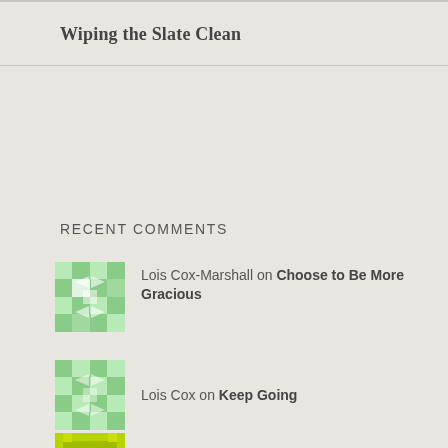Wiping the Slate Clean
RECENT COMMENTS
Lois Cox-Marshall on Choose to Be More Gracious
Lois Cox on Keep Going
John Chaffee on Let Your Life Speak
Carrie on 21
CHRISTIE HOLLINGSWOR… on 21